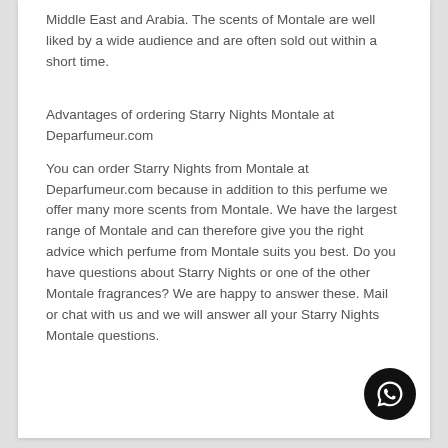Middle East and Arabia. The scents of Montale are well liked by a wide audience and are often sold out within a short time.
Advantages of ordering Starry Nights Montale at Deparfumeur.com
You can order Starry Nights from Montale at Deparfumeur.com because in addition to this perfume we offer many more scents from Montale. We have the largest range of Montale and can therefore give you the right advice which perfume from Montale suits you best. Do you have questions about Starry Nights or one of the other Montale fragrances? We are happy to answer these. Mail or chat with us and we will answer all your Starry Nights Montale questions.
[Figure (illustration): WhatsApp contact button, circular black icon with WhatsApp logo in white]